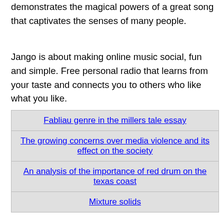demonstrates the magical powers of a great song that captivates the senses of many people.
Jango is about making online music social, fun and simple. Free personal radio that learns from your taste and connects you to others who like what you like.
| Fabliau genre in the millers tale essay |
| The growing concerns over media violence and its effect on the society |
| An analysis of the importance of red drum on the texas coast |
| Mixture solids |